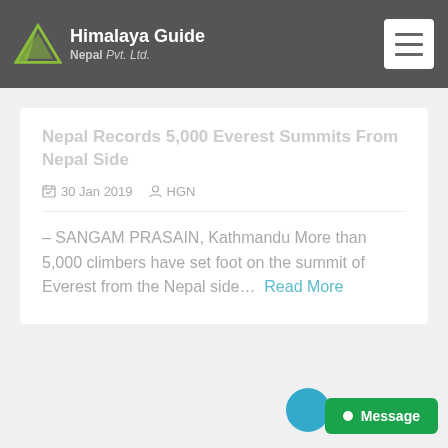Himalaya Guide Nepal Pvt. Ltd.
30 Jan 2019  HGN
– SANGAM PRASAIN, Kathmandu More than 5,000 climbers have set foot on the summit of Everest from the Nepal side... Read More